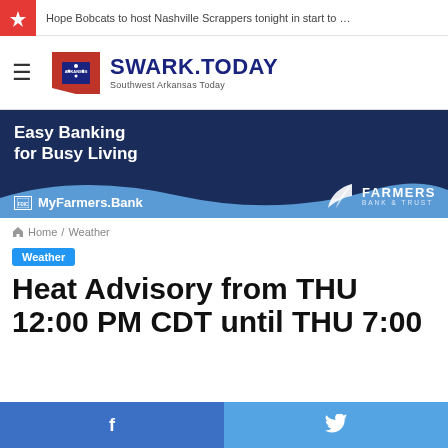Hope Bobcats to host Nashville Scrappers tonight in start to …
[Figure (logo): SWARK.TODAY – Southwest Arkansas Today logo with Arkansas state outline in red and blue]
[Figure (other): Farmers Bank & Trust advertisement – Easy Banking for Busy Living – MyFarmers.Bank]
Home / Weather
Weather
Heat Advisory from THU 12:00 PM CDT until THU 7:00